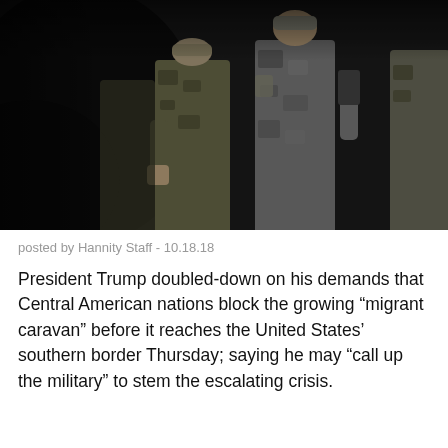[Figure (photo): Military personnel in camouflage uniforms photographed in low light conditions, standing in a group. The image has a dark, moody tone with blurred foreground elements.]
posted by Hannity Staff - 10.18.18
President Trump doubled-down on his demands that Central American nations block the growing “migrant caravan” before it reaches the United States’ southern border Thursday; saying he may “call up the military” to stem the escalating crisis.